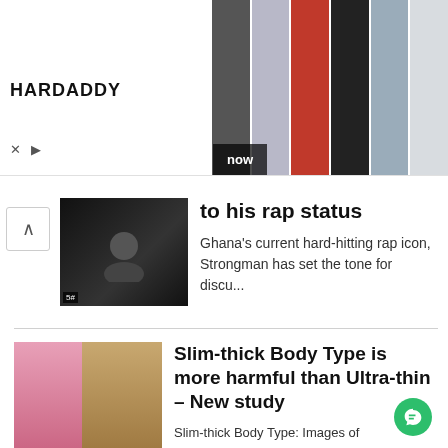[Figure (screenshot): HARDADDY advertisement banner showing men's clothing/shirts with a 'now' button]
to his rap status
Ghana's current hard-hitting rap icon, Strongman has set the tone for discu...
Slim-thick Body Type is more harmful than Ultra-thin – New study
Slim-thick Body Type: Images of unrealistically thin models and celebrities...